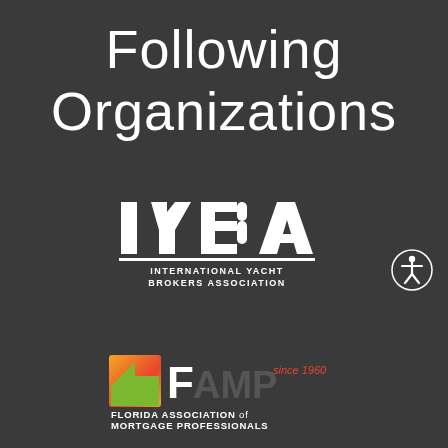Following Organizations
[Figure (logo): IYBA - International Yacht Brokers Association logo. White stylized letters IYBA with 'INTERNATIONAL YACHT BROKERS ASSOCIATION' text below in white on dark background.]
[Figure (logo): FAMP - Florida Association of Mortgage Professionals logo. Colorful house icon (orange/yellow/green) with FAMP text and 'since 1960' tagline. Subtitle: FLORIDA ASSOCIATION of MORTGAGE PROFESSIONALS.]
[Figure (other): Accessibility icon - circular badge with human figure symbol in white on dark gray circle outline.]